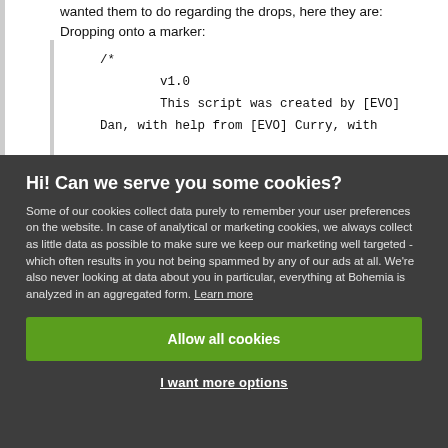wanted them to do regarding the drops, here they are: Dropping onto a marker:
/*
        v1.0
        This script was created by [EVO] Dan, with help from [EVO] Curry, with
Hi! Can we serve you some cookies?
Some of our cookies collect data purely to remember your user preferences on the website. In case of analytical or marketing cookies, we always collect as little data as possible to make sure we keep our marketing well targeted - which often results in you not being spammed by any of our ads at all. We're also never looking at data about you in particular, everything at Bohemia is analyzed in an aggregated form. Learn more
Allow all cookies
I want more options